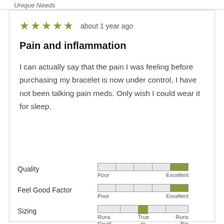Unique Needs
★★★★★  about 1 year ago
Pain and inflammation
I can actually say that the pain I was feeling before purchasing my bracelet is now under control, I have not been talking pain meds. Only wish I could wear it for sleep.
| Attribute | Rating | Scale |
| --- | --- | --- |
| Quality | max right | Poor — Excellent |
| Feel Good Factor | max right | Poor — Excellent |
| Sizing | center | Runs Small — True to Size — Runs Big |